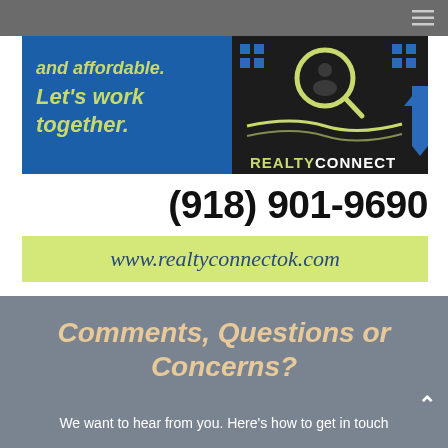[Figure (logo): Realty Connect banner ad showing 'and affordable. Let's work together.' text in yellow-green italic on blue background, with house/magnifying glass icon on dark right side and REALTYCONNECT logo]
(918) 901-9690
www.realtyconnectok.com
Comments, Questions or Concerns?
We want to hear from you. Here's how to get in touch with the Realty 918 staff...